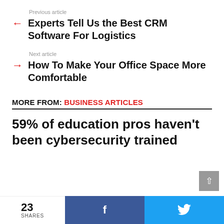Previous article
Experts Tell Us the Best CRM Software For Logistics
Next article
How To Make Your Office Space More Comfortable
MORE FROM: BUSINESS ARTICLES
59% of education pros haven't been cybersecurity trained
23 SHARES